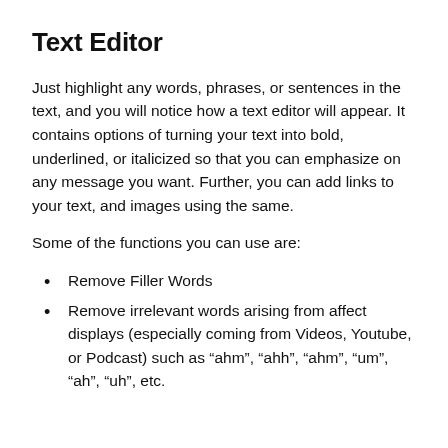Text Editor
Just highlight any words, phrases, or sentences in the text, and you will notice how a text editor will appear. It contains options of turning your text into bold, underlined, or italicized so that you can emphasize on any message you want. Further, you can add links to your text, and images using the same.
Some of the functions you can use are:
Remove Filler Words
Remove irrelevant words arising from affect displays (especially coming from Videos, Youtube, or Podcast) such as “ahm”, “ahh”, “ahm”, “um”, “ah”, “uh”, etc.